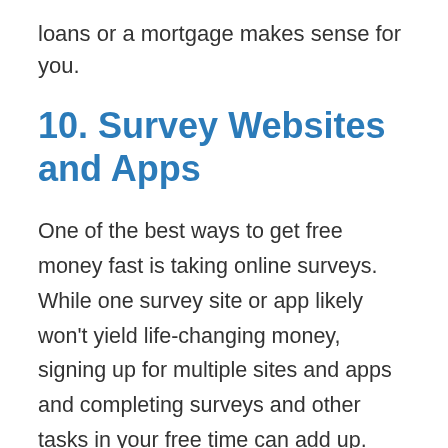loans or a mortgage makes sense for you.
10. Survey Websites and Apps
One of the best ways to get free money fast is taking online surveys. While one survey site or app likely won’t yield life-changing money, signing up for multiple sites and apps and completing surveys and other tasks in your free time can add up.
Most survey sites offer a bonus for signing